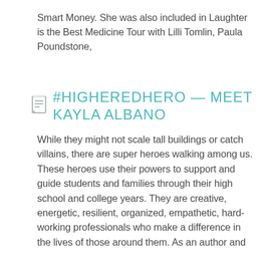Smart Money. She was also included in Laughter is the Best Medicine Tour with Lilli Tomlin, Paula Poundstone,
#HIGHEREDHERO — MEET KAYLA ALBANO
While they might not scale tall buildings or catch villains, there are super heroes walking among us. These heroes use their powers to support and guide students and families through their high school and college years. They are creative, energetic, resilient, organized, empathetic, hard-working professionals who make a difference in the lives of those around them. As an author and